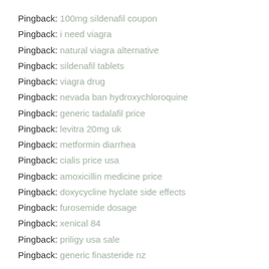Pingback: 100mg sildenafil coupon
Pingback: i need viagra
Pingback: natural viagra alternative
Pingback: sildenafil tablets
Pingback: viagra drug
Pingback: nevada ban hydroxychloroquine
Pingback: generic tadalafil price
Pingback: levitra 20mg uk
Pingback: metformin diarrhea
Pingback: cialis price usa
Pingback: amoxicillin medicine price
Pingback: doxycycline hyclate side effects
Pingback: furosemide dosage
Pingback: xenical 84
Pingback: priligy usa sale
Pingback: generic finasteride nz